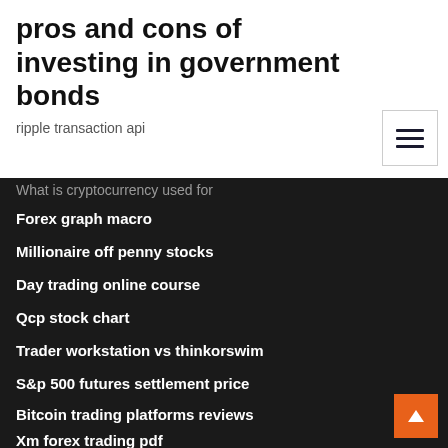pros and cons of investing in government bonds
ripple transaction api
What is cryptocurrency used for
Forex graph macro
Millionaire off penny stocks
Day trading online course
Qcp stock chart
Trader workstation vs thinkorswim
S&p 500 futures settlement price
Bitcoin trading platforms reviews
Xm forex trading pdf